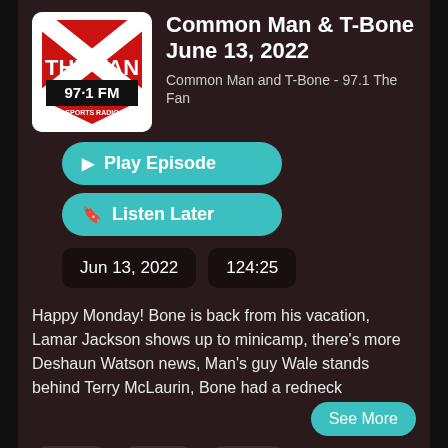[Figure (logo): The Fan 97.1 FM Sports Radio logo — red shield/pennant shape with white THE FAN text and black 97.1FM bar]
Common Man & T-Bone
June 13, 2022
Common Man and T-Bone - 97.1 The Fan
▶ Play Episode
🔖 Listen Later
Jun 13, 2022
124:25
Happy Monday! Bone is back from his vacation, Lamar Jackson shows up to minicamp, there's more Deshaun Watson news, Man's guy Wale stands behind Terry McLaurin, Bone had a redneck
See More
# man
# beef
# bone